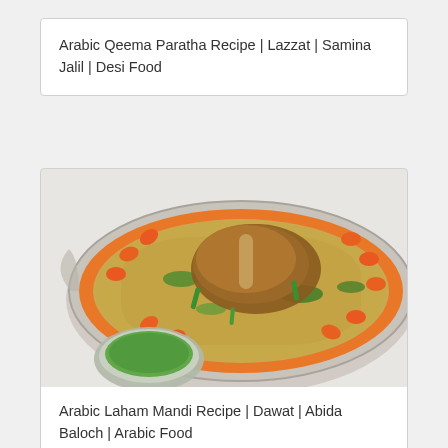Arabic Qeema Paratha Recipe | Lazzat | Samina Jalil | Desi Food
[Figure (photo): A large oval silver serving platter with Arabic Laham Mandi — spiced rice topped with roasted lamb/meat pieces, garnished with green herbs and carrots on the sides. A small bowl of green chutney is visible in the foreground.]
Arabic Laham Mandi Recipe | Dawat | Abida Baloch | Arabic Food